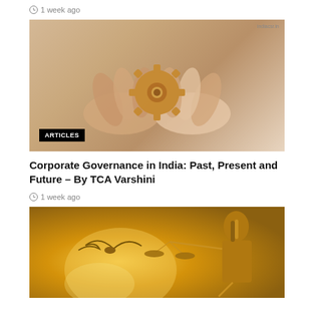1 week ago
[Figure (photo): Two hands cupping a wooden gear/cog, with watermark 'indiacsr.in'. An 'ARTICLES' badge overlaid on the lower left.]
Corporate Governance in India: Past, Present and Future – By TCA Varshini
1 week ago
[Figure (photo): Golden-toned image of a Lady Justice statue holding scales, with warm glowing background.]